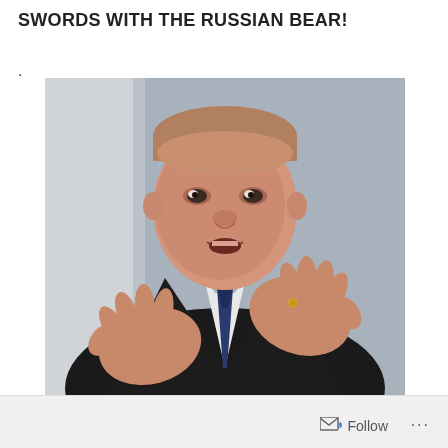SWORDS WITH THE RUSSIAN BEAR!
.
[Figure (photo): A man in a dark suit and blue tie gesturing with both hands, speaking expressively, with a blurred grey background.]
Follow ...